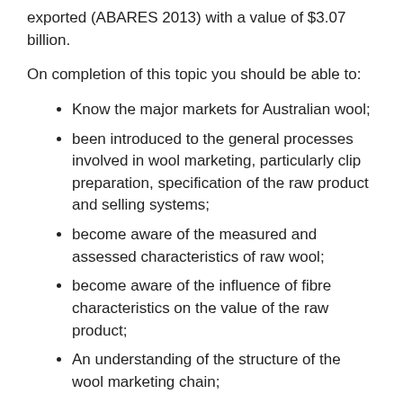exported (ABARES 2013) with a value of $3.07 billion.
On completion of this topic you should be able to:
Know the major markets for Australian wool;
been introduced to the general processes involved in wool marketing, particularly clip preparation, specification of the raw product and selling systems;
become aware of the measured and assessed characteristics of raw wool;
become aware of the influence of fibre characteristics on the value of the raw product;
An understanding of the structure of the wool marketing chain;
Understand the importance of classing wool to prepare even lines for sale